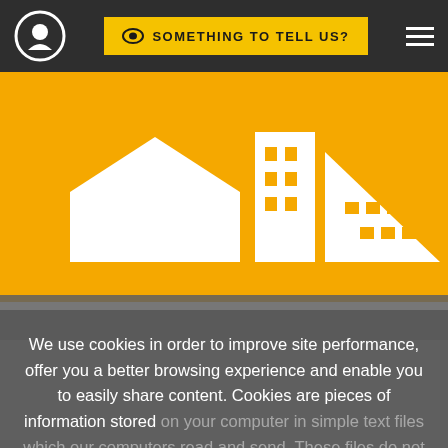[Figure (screenshot): Website navigation bar with circular logo on left, yellow 'SOMETHING TO TELL US?' button in center, and hamburger menu icon on right, on dark background]
[Figure (illustration): Orange banner with white silhouette cityscape illustration showing buildings and a house]
We use cookies in order to improve site performance, offer you a better browsing experience and enable you to easily share content. Cookies are pieces of information stored on your computer in simple text files which our computers read and send. These files do not
I AGREE
MORE DETAILS